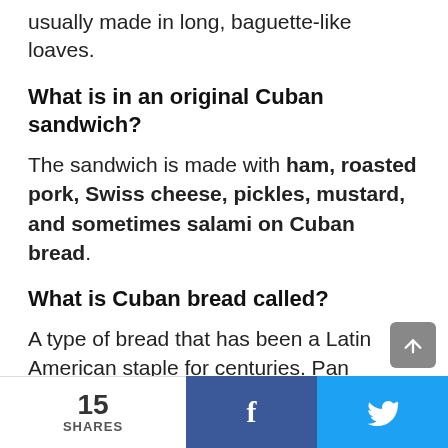usually made in long, baguette-like loaves.
What is in an original Cuban sandwich?
The sandwich is made with ham, roasted pork, Swiss cheese, pickles, mustard, and sometimes salami on Cuban bread.
What is Cuban bread called?
A type of bread that has been a Latin American staple for centuries. Pan Cubano is prepared using bread flour or all-purpose flour and a starter is used as a leaven. It is similar to French bread except that it contains lard and a bit of sugar.
15 SHARES | f | twitter-bird